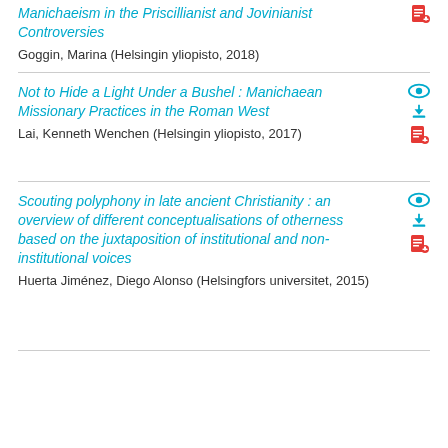Manichaeism in the Priscillianist and Jovinianist Controversies
Goggin, Marina (Helsingin yliopisto, 2018)
Not to Hide a Light Under a Bushel : Manichaean Missionary Practices in the Roman West
Lai, Kenneth Wenchen (Helsingin yliopisto, 2017)
Scouting polyphony in late ancient Christianity : an overview of different conceptualisations of otherness based on the juxtaposition of institutional and non-institutional voices
Huerta Jiménez, Diego Alonso (Helsingfors universitet, 2015)